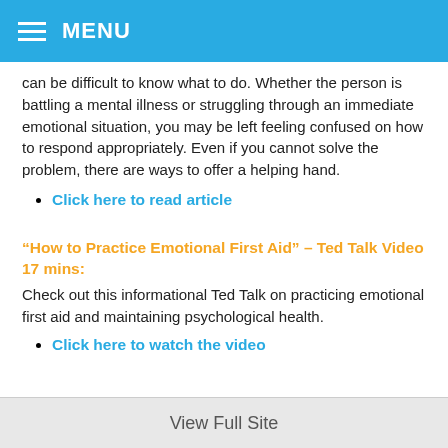MENU
can be difficult to know what to do. Whether the person is battling a mental illness or struggling through an immediate emotional situation, you may be left feeling confused on how to respond appropriately. Even if you cannot solve the problem, there are ways to offer a helping hand.
Click here to read article
“How to Practice Emotional First Aid” – Ted Talk Video 17 mins:
Check out this informational Ted Talk on practicing emotional first aid and maintaining psychological health.
Click here to watch the video
View Full Site